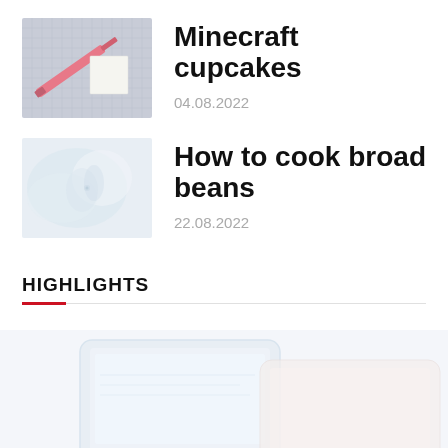[Figure (photo): Thumbnail image of a pink knife and a square piece of paper on a cutting mat]
Minecraft cupcakes
04.08.2022
[Figure (photo): Thumbnail image of hands working with white fabric or cloth]
How to cook broad beans
22.08.2022
HIGHLIGHTS